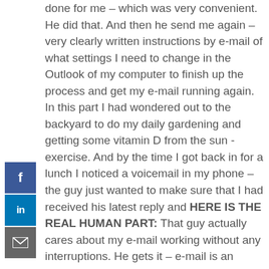[Figure (other): Social media sharing sidebar with Facebook, LinkedIn, and email buttons]
done for me – which was very convenient. He did that. And then he send me again – very clearly written instructions by e-mail of what settings I need to change in the Outlook of my computer to finish up the process and get my e-mail running again. In this part I had wondered out to the backyard to do my daily gardening and getting some vitamin D from the sun -exercise. And by the time I got back in for a lunch I noticed a voicemail in my phone – the guy just wanted to make sure that I had received his latest reply and HERE IS THE REAL HUMAN PART: That guy actually cares about my e-mail working without any interruptions. He gets it – e-mail is an important thing to have working at all times. And I didn't even have to tell (or yell) him that. It was the customer service guy himself who was more concerned about my business functioning properly than me.